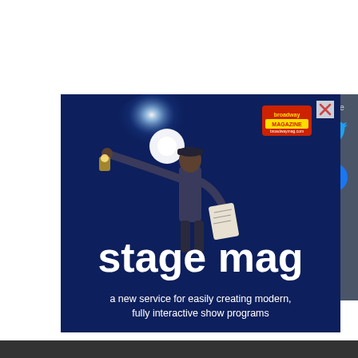[Figure (screenshot): Advertisement for 'stage mag' - a new service for easily creating modern, fully interactive show programs. Dark navy blue background with a person on stage holding papers, reaching toward a bright spotlight. Broadway Magazine logo badge in top right. Text: 'stage mag' in large white bold font, subtitle: 'a new service for easily creating modern, fully interactive show programs'.]
[Figure (infographic): Share sidebar on the right with grey background showing 'share' label, a Twitter bird icon in cyan/blue, and a Facebook icon in blue.]